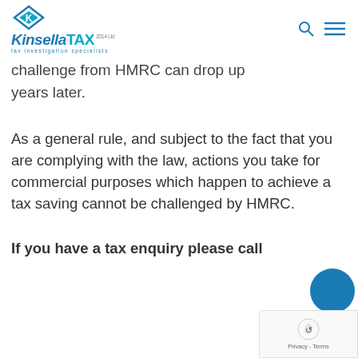KinsellaTAX 2014 Ltd — tax investigation specialists
challenge from HMRC can drop up years later.
As a general rule, and subject to the fact that you are complying with the law, actions you take for commercial purposes which happen to achieve a tax saving cannot be challenged by HMRC.
If you have a tax enquiry please call